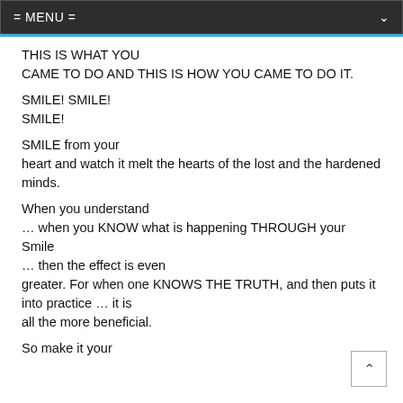= MENU =
THIS IS WHAT YOU CAME TO DO AND THIS IS HOW YOU CAME TO DO IT.
SMILE! SMILE!
SMILE!
SMILE from your heart and watch it melt the hearts of the lost and the hardened minds.
When you understand
… when you KNOW what is happening THROUGH your Smile
… then the effect is even
greater. For when one KNOWS THE TRUTH, and then puts it into practice … it is
all the more beneficial.
So make it your